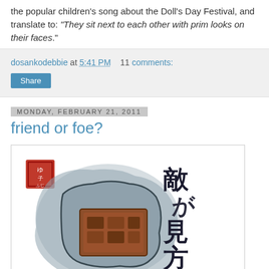the popular children's song about the Doll's Day Festival, and translate to: "They sit next to each other with prim looks on their faces."
dosankodebbie at 5:41 PM    11 comments:
Share
Monday, February 21, 2011
friend or foe?
[Figure (illustration): Japanese etegami illustration showing a chocolate box with Japanese calligraphy characters on the right side reading 'teki ka mikata ka' (friend or foe?), with a red stamp seal in the upper left corner.]